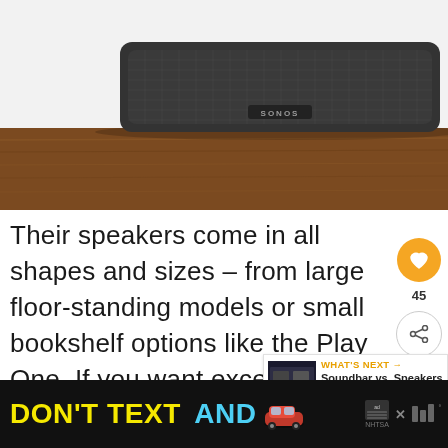[Figure (photo): A Sonos wireless speaker (dark gray, rectangular with mesh front) sitting on a wooden shelf/table against a gray-white background.]
Their speakers come in all shapes and sizes – from large floor-standing models or small bookshelf options like the Play One. If you want excellent sound quality then check out S... today!
[Figure (infographic): WHAT'S NEXT arrow label with thumbnail image and text 'Soundbar vs. Speakers -...']
[Figure (infographic): Advertisement banner: 'DON'T TEXT AND' with car emoji, ad choices icon, NHTSA logo, and weather channel logo on black background.]